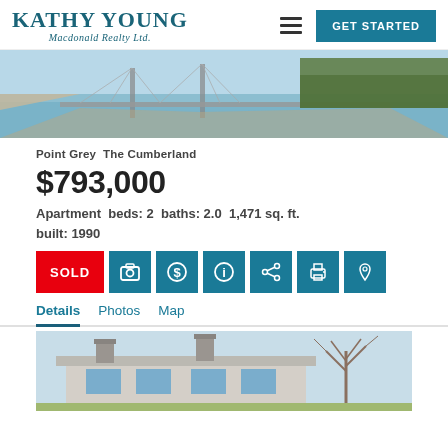KATHY YOUNG
Macdonald Realty Ltd.
[Figure (photo): Aerial/landscape photo of a suspension bridge over water with forested shoreline]
Point Grey  The Cumberland
$793,000
Apartment  beds: 2  baths: 2.0  1,471 sq. ft.  built: 1990
SOLD
Details  Photos  Map
[Figure (photo): Exterior photo of a modernist house with bare trees in the foreground]